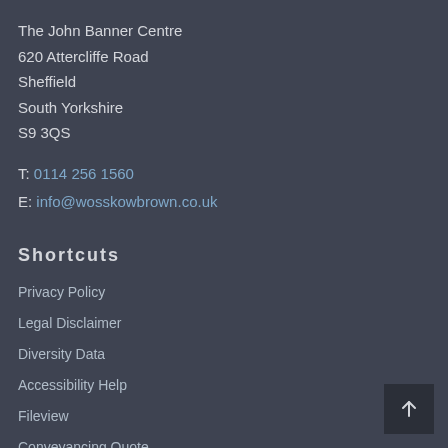The John Banner Centre
620 Attercliffe Road
Sheffield
South Yorkshire
S9 3QS
T: 0114 256 1560
E: info@wosskowbrown.co.uk
Shortcuts
Privacy Policy
Legal Disclaimer
Diversity Data
Accessibility Help
Fileview
Conveyancing Quote